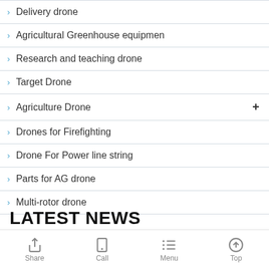Delivery drone
Agricultural Greenhouse equipmen
Research and teaching drone
Target Drone
Agriculture Drone
Drones for Firefighting
Drone For Power line string
Parts for AG drone
Multi-rotor drone
LATEST NEWS
Share  Call  Menu  Top